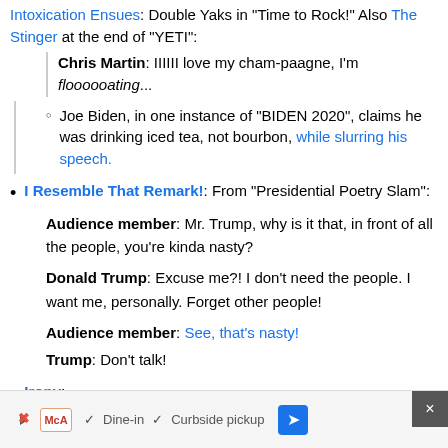Intoxication Ensues: Double Yaks in "Time to Rock!" Also The Stinger at the end of "YETI": Chris Martin: IIIIII love my cham-paagne, I'm floooooating...
Joe Biden, in one instance of "BIDEN 2020", claims he was drinking iced tea, not bourbon, while slurring his speech.
I Resemble That Remark!: From "Presidential Poetry Slam":
Audience member: Mr. Trump, why is it that, in front of all the people, you're kinda nasty?
Donald Trump: Excuse me?! I don't need the people. I want me, personally. Forget other people!
Audience member: See, that's nasty!
Trump: Don't talk!
Irony:
In reality Obama's life was quite affected by racism,
[Figure (screenshot): Advertisement bar at bottom with play button, McA logo, checkmarks for Dine-in and Curbside pickup, navigation diamond icon, and close X button]